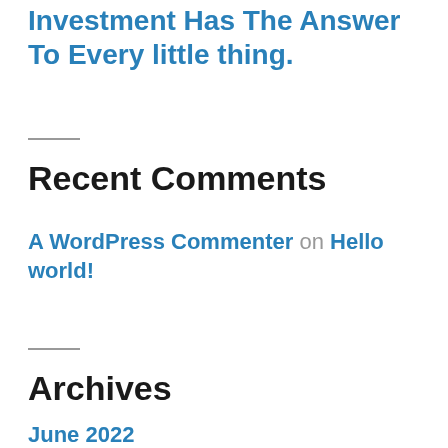Investment Has The Answer To Every little thing.
Recent Comments
A WordPress Commenter on Hello world!
Archives
June 2022